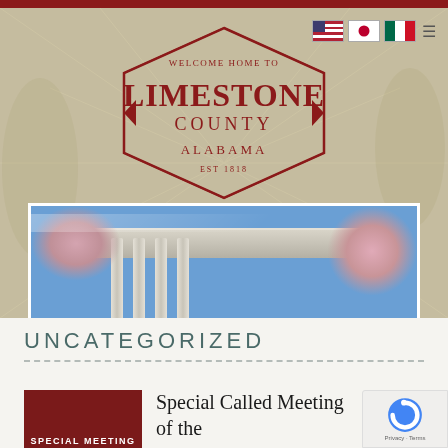[Figure (logo): Limestone County Alabama welcome home logo in diamond/badge shape with dark red text on tan background]
[Figure (photo): Courthouse building with white columns, blue sky, and pink cherry blossom trees]
UNCATEGORIZED
Special Called Meeting of the
[Figure (other): Dark red thumbnail image with text SPECIAL MEETING]